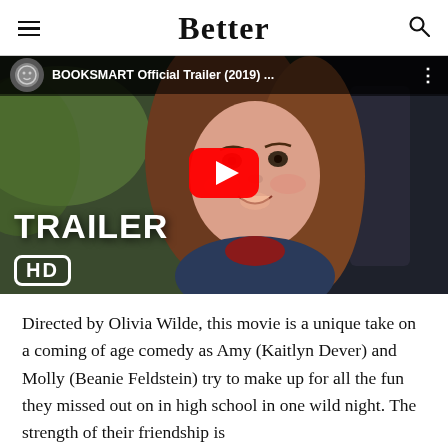Better
[Figure (screenshot): YouTube video thumbnail for 'BOOKSMART Official Trailer (2019)...' showing a young woman with brown hair in a car, with TRAILER HD text overlay and red YouTube play button in the center.]
Directed by Olivia Wilde, this movie is a unique take on a coming of age comedy as Amy (Kaitlyn Dever) and Molly (Beanie Feldstein) try to make up for all the fun they missed out on in high school in one wild night. The strength of their friendship is